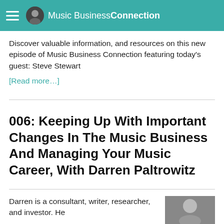Music Business Connection
Discover valuable information, and resources on this new episode of Music Business Connection featuring today's guest: Steve Stewart
[Read more…]
006: Keeping Up With Important Changes In The Music Business And Managing Your Music Career, With Darren Paltrowitz
Darren is a consultant, writer, researcher, and investor. He